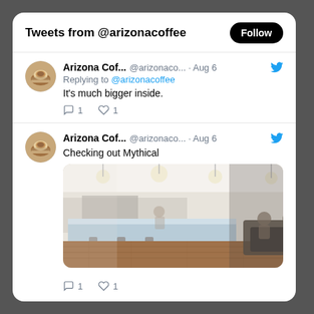Tweets from @arizonacoffee
Arizona Cof... @arizonaco... · Aug 6
Replying to @arizonacoffee
It's much bigger inside.
Arizona Cof... @arizonaco... · Aug 6
Checking out Mythical
[Figure (photo): Interior of a cafe with a light blue bar counter, wooden floors, pendant lights on ceiling, and patrons seated in background]